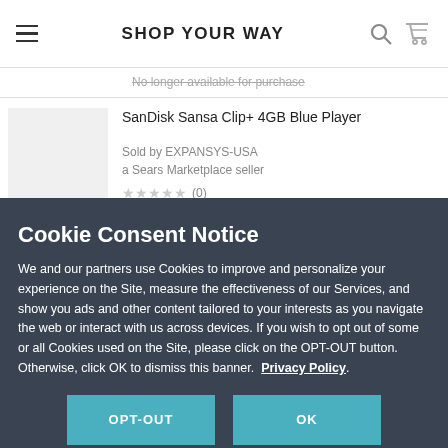SHOP YOUR WAY
No longer available for purchase
SanDisk Sansa Clip+ 4GB Blue Player
Sold by EXPANSYS-USA
a Sears Marketplace seller
★★★★★ (0)
Cookie Consent Notice
We and our partners use Cookies to improve and personalize your experience on the Site, measure the effectiveness of our Services, and show you ads and other content tailored to your interests as you navigate the web or interact with us across devices. If you wish to opt out of some or all Cookies used on the Site, please click on the OPT-OUT button. Otherwise, click OK to dismiss this banner.  Privacy Policy.
OPT-OUT
OK